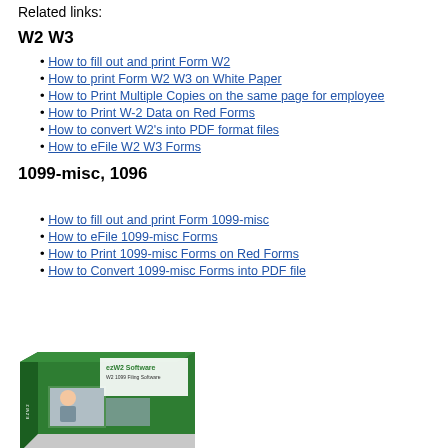Related links:
W2 W3
How to fill out and print Form W2
How to print Form W2 W3 on White Paper
How to Print Multiple Copies on the same page for employee
How to Print W-2 Data on Red Forms
How to convert W2's into PDF format files
How to eFile W2 W3 Forms
1099-misc, 1096
How to fill out and print Form 1099-misc
How to eFile 1099-misc Forms
How to Print 1099-misc Forms on Red Forms
How to Convert 1099-misc Forms into PDF file
[Figure (photo): ezW2 Software box product image showing W2 1099 filing software with a green box and photos of people]